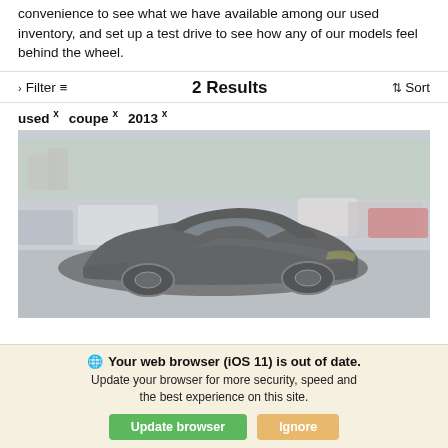convenience to see what we have available among our used inventory, and set up a test drive to see how any of our models feel behind the wheel.
Filter   2 Results   Sort
used × coupe × 2013 ×
[Figure (photo): A dark gray/black Ford Mustang coupe in a car dealership lot, surrounded by other vehicles including white and red cars, with trees visible in the background. The photo has a washed-out, faded appearance.]
Your web browser (iOS 11) is out of date. Update your browser for more security, speed and the best experience on this site.
Update browser   Ignore